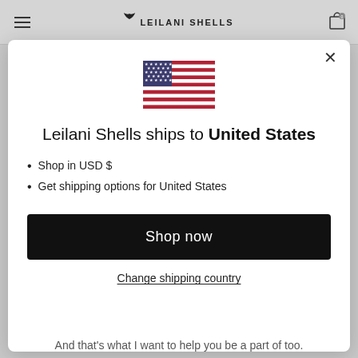LEILANI SHELLS
[Figure (screenshot): Modal dialog with US flag, shipping info, and shop now button]
Leilani Shells ships to United States
Shop in USD $
Get shipping options for United States
Shop now
Change shipping country
And that's what I want to help you be a part of too.